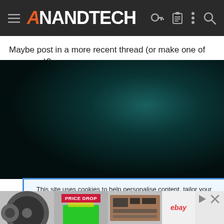AnandTech navigation bar
Maybe post in a more recent thread (or make one of your own)?
[Figure (other): Dark teal/black gradient background area, possibly a video embed or image placeholder]
This site uses cookies to help personalise content, tailor your experience and to keep you logged in if you register.
By continuing to use this site, you are consenting to our use of cookies.
[Figure (other): Advertisement banner with GPU/PC component images, a PRICE DROP badge in red, and eBay branding]